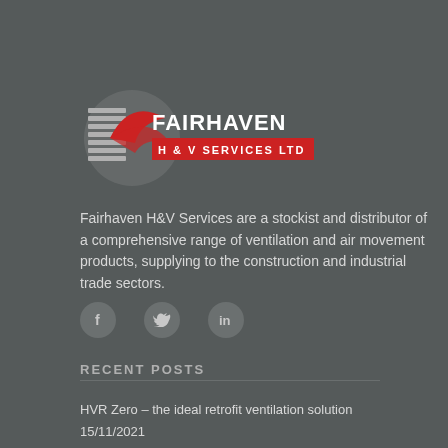[Figure (logo): Fairhaven H & V Services Ltd logo — circular fan graphic in red, grey stripes on left, white bold text FAIRHAVEN with H & V SERVICES LTD beneath on red bar]
Fairhaven H&V Services are a stockist and distributor of a comprehensive range of ventilation and air movement products, supplying to the construction and industrial trade sectors.
[Figure (infographic): Social media icons: Facebook (f), Twitter (bird), LinkedIn (in) — circular dark grey buttons]
RECENT POSTS
HVR Zero – the ideal retrofit ventilation solution
15/11/2021